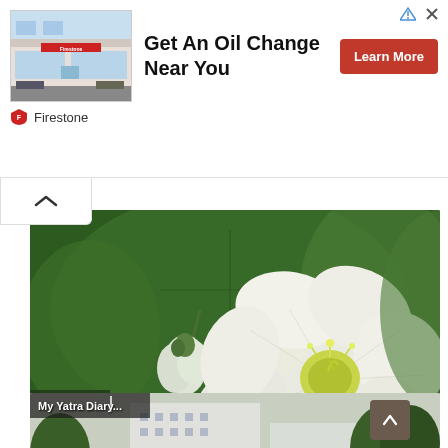[Figure (photo): Firestone auto care store exterior — advertisement banner with store photo, headline 'Get An Oil Change Near You', red 'Learn More' button, and Firestone logo/brand name]
[Figure (photo): Close-up photograph of white hollyhock flowers (Alcea rosea) with large green leaves in background]
[Figure (photo): Partial photo labeled 'My Yatra Diary...' showing urban buildings and trees, partially cropped at bottom of page]